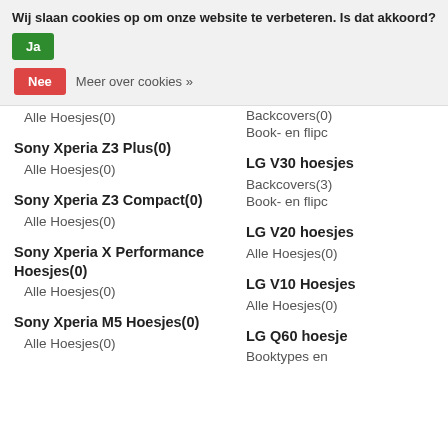Wij slaan cookies op om onze website te verbeteren. Is dat akkoord? Ja
Nee  Meer over cookies »
Alle Hoesjes(0)
Backcovers(0)  Book- en flipc
Sony Xperia Z3 Plus(0)
LG V30 hoesjes
Alle Hoesjes(0)
Backcovers(3)  Book- en flipc
Sony Xperia Z3 Compact(0)
LG V20 hoesjes
Alle Hoesjes(0)
Alle Hoesjes(0)
Sony Xperia X Performance Hoesjes(0)
LG V10 Hoesjes
Alle Hoesjes(0)
Alle Hoesjes(0)
Sony Xperia M5 Hoesjes(0)
LG Q60 hoesje
Alle Hoesjes(0)
Booktypes en